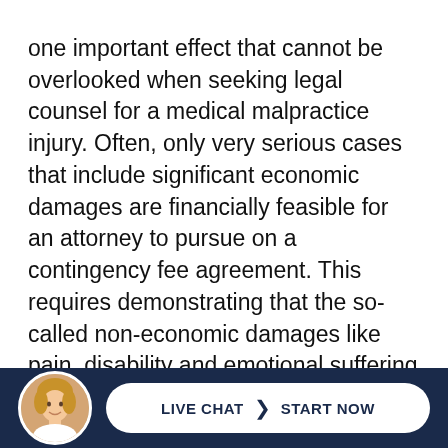one important effect that cannot be overlooked when seeking legal counsel for a medical malpractice injury. Often, only very serious cases that include significant economic damages are financially feasible for an attorney to pursue on a contingency fee agreement. This requires demonstrating that the so-called non-economic damages like pain, disability and emotional suffering and the decline of social activities will have very real economic impact on the patient over their lifetime. Recovery of economic damages, although under attack, have not b...